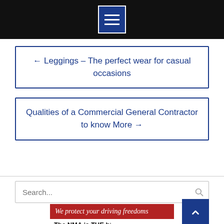[Figure (screenshot): Black navigation bar with hamburger menu icon (three white lines) inside a blue bordered square button]
← Leggings – The perfect wear for casual occasions
Qualities of a Commercial General Contractor to know More →
Search...
[Figure (infographic): Ad banner with blue background, red bar reading 'We protect your driving freedoms' in italic white text, and white bar with bold text starting 'The NMA is THE b...']